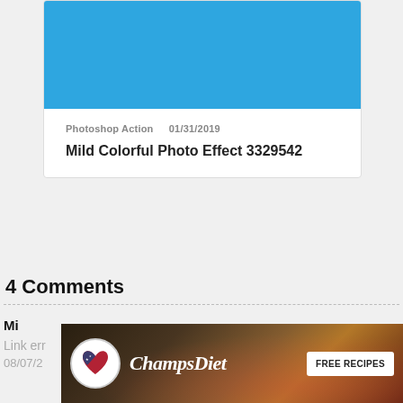[Figure (screenshot): Blue rectangle banner area at top of a card]
Photoshop Action  01/31/2019
Mild Colorful Photo Effect 3329542
4 Comments
Mi
Link err
08/07/2
[Figure (screenshot): ChampsDiet advertisement banner with logo, script title and FREE RECIPES button, food background]